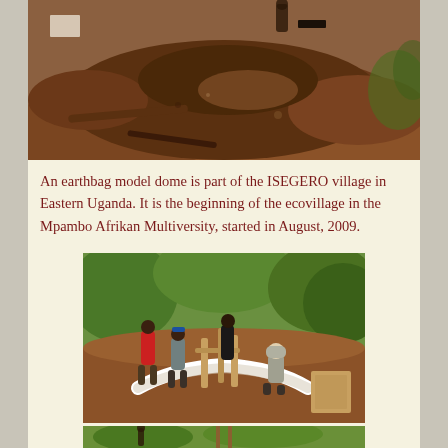[Figure (photo): Aerial/ground view of red-brown earth soil excavation with sticks/logs, person visible at top]
An earthbag model dome is part of the ISEGERO village in Eastern Uganda. It is the beginning of the ecovillage in the Mpambo Afrikan Multiversity, started in August, 2009.
[Figure (photo): Workers constructing an earthbag dome foundation in Uganda; people placing bags in a circular pattern with wooden stakes, green trees in background]
[Figure (photo): Partial view of ecovillage construction site with green vegetation in background]